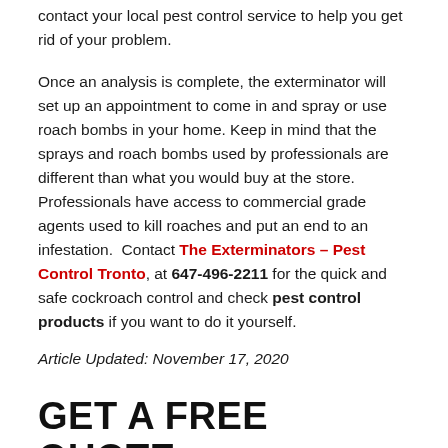contact your local pest control service to help you get rid of your problem.
Once an analysis is complete, the exterminator will set up an appointment to come in and spray or use roach bombs in your home. Keep in mind that the sprays and roach bombs used by professionals are different than what you would buy at the store. Professionals have access to commercial grade agents used to kill roaches and put an end to an infestation. Contact The Exterminators – Pest Control Tronto, at 647-496-2211 for the quick and safe cockroach control and check pest control products if you want to do it yourself.
Article Updated: November 17, 2020
GET A FREE QUOTE